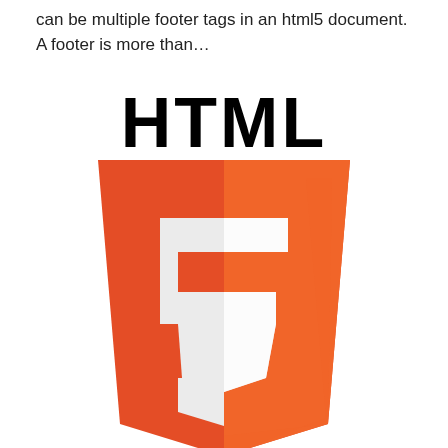can be multiple footer tags in an html5 document. A footer is more than...
[Figure (logo): HTML5 logo — bold black 'HTML' text above the official orange and dark-orange HTML5 shield with a large white '5' on it]